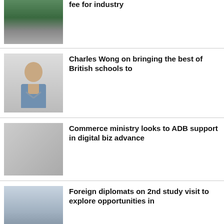[Figure (photo): Solar panels with people standing behind them]
fee for industry
[Figure (photo): Portrait of Charles Wong in a suit with arms crossed]
Charles Wong on bringing the best of British schools to
[Figure (photo): Two men in suits seated having a conversation]
Commerce ministry looks to ADB support in digital biz advance
[Figure (photo): Group of foreign diplomats posing for a photo]
Foreign diplomats on 2nd study visit to explore opportunities in
[Figure (photo): Cambodia Thailand event signage]
Cambodia, Thailand agree